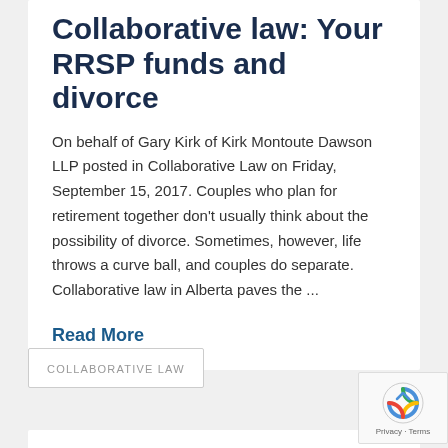Collaborative law: Your RRSP funds and divorce
On behalf of Gary Kirk of Kirk Montoute Dawson LLP posted in Collaborative Law on Friday, September 15, 2017. Couples who plan for retirement together don’t usually think about the possibility of divorce. Sometimes, however, life throws a curve ball, and couples do separate. Collaborative law in Alberta paves the …
Read More
COLLABORATIVE LAW